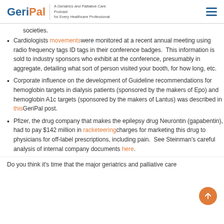GeriPal — A Geriatrics and Palliative Care Podcast for Every Healthcare Professional
societies.
Cardiologists movements were monitored at a recent annual meeting using radio frequency tags ID tags in their conference badges. This information is sold to industry sponsors who exhibit at the conference, presumably in aggregate, detailing what sort of person visited your booth, for how long, etc.
Corporate influence on the development of Guideline recommendations for hemoglobin targets in dialysis patients (sponsored by the makers of Epo) and hemoglobin A1c targets (sponsored by the makers of Lantus) was described in this GeriPal post.
Pfizer, the drug company that makes the epilepsy drug Neurontin (gapabentin), had to pay $142 million in racketeering charges for marketing this drug to physicians for off-label prescriptions, including pain. See Steinman's careful analysis of internal company documents here.
Do you think it's time that the major geriatrics and palliative care